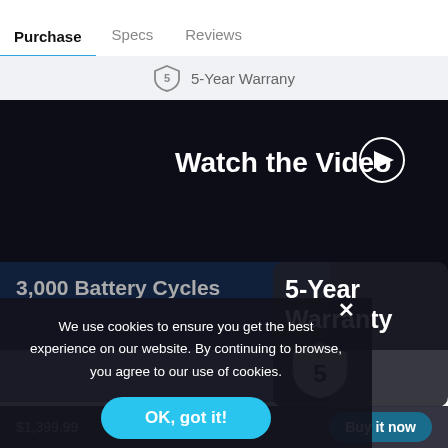Purchase  Specs  Reviews
5-Year Warrany
[Figure (screenshot): Dark video section with 'Watch the Video' text and play button icon]
3,000 Battery Cycles
5-Year Warranty
We use cookies to ensure you get the best experience on our website. By continuing to browse, you agree to our use of cookies.
OK, got it!
$1,399.99   Add to cart   Buy it now